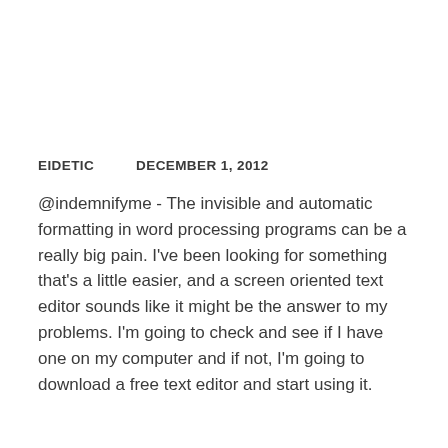EIDETIC    DECEMBER 1, 2012
@indemnifyme - The invisible and automatic formatting in word processing programs can be a really big pain. I've been looking for something that's a little easier, and a screen oriented text editor sounds like it might be the answer to my problems. I'm going to check and see if I have one on my computer and if not, I'm going to download a free text editor and start using it.